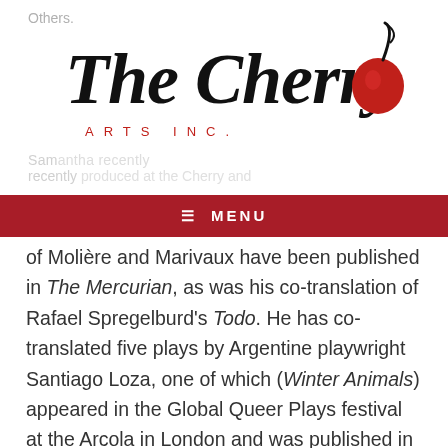Others.
[Figure (logo): The Cherry Arts Inc. logo with script text 'The Cherry' and a red cherry illustration, with 'ARTS INC.' in spaced red capital letters below]
MENU
of Molière and Marivaux have been published in The Mercurian, as was his co-translation of Rafael Spregelburd's Todo. He has co-translated five plays by Argentine playwright Santiago Loza, one of which (Winter Animals) appeared in the Global Queer Plays festival at the Arcola in London and was published in the Oberon Books anthology of the same name. As a director,